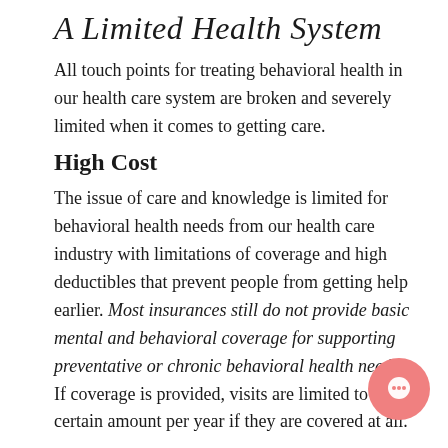A Limited Health System
All touch points for treating behavioral health in our health care system are broken and severely limited when it comes to getting care.
High Cost
The issue of care and knowledge is limited for behavioral health needs from our health care industry with limitations of coverage and high deductibles that prevent people from getting help earlier. Most insurances still do not provide basic mental and behavioral coverage for supporting preventative or chronic behavioral health needs. If coverage is provided, visits are limited to a certain amount per year if they are covered at all.